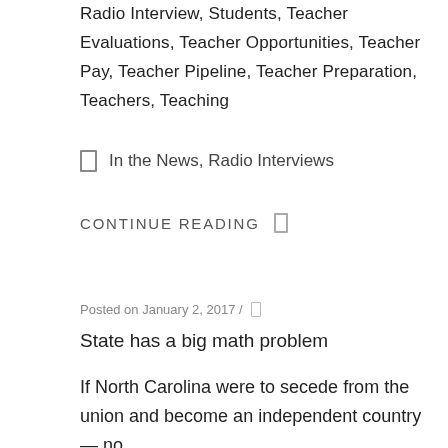Radio Interview, Students, Teacher Evaluations, Teacher Opportunities, Teacher Pay, Teacher Pipeline, Teacher Preparation, Teachers, Teaching
In the News, Radio Interviews
CONTINUE READING
Posted on January 2, 2017 /
State has a big math problem
If North Carolina were to secede from the union and become an independent country — no,